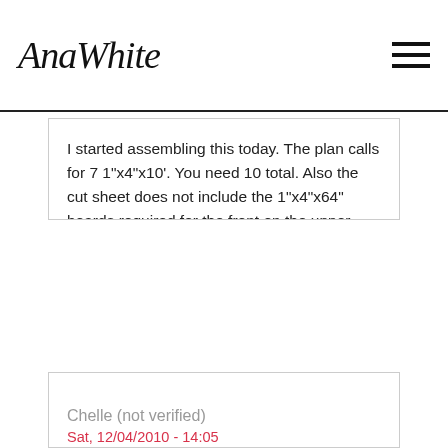AnaWhite
I started assembling this today. The plan calls for 7 1"x4"x10'. You need 10 total. Also the cut sheet does not include the 1"x4"x64" boards required for the front on the upper bunk. Personally, I modified the plans by increasing the length by 2 1/8 inches and increased by bottom height from 8" to 10 3/8". This is to accommodate a trundle (http://images.lowes.com/animate/ExtTrundle.pdf). So far the project is going pretty well. A good mitre saw is a MUST. I'll post back when I'm done.
Log in or register to post comments
Chelle (not verified)
Sat, 12/04/2010 - 14:05